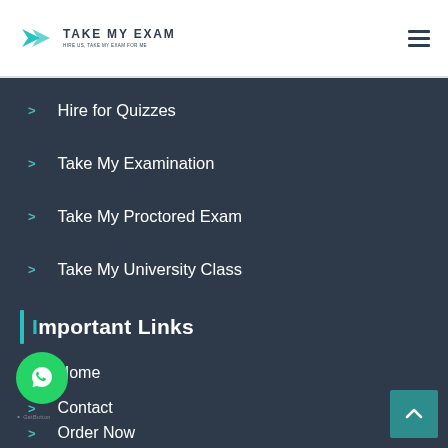[Figure (logo): Take My Exam logo with teal bird/arrow icon and text 'TAKE MY EXAM' with subtitle]
Hire for Quizzes
Take My Examination
Take My Proctored Exam
Take My University Class
Important Links
Home
Contact
Order Now